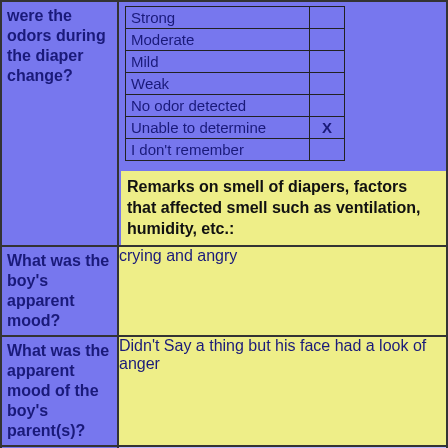| were the odors during the diaper change? | Strong / Moderate / Mild / Weak / No odor detected / Unable to determine [X] / I don't remember |
|  | Remarks on smell of diapers, factors that affected smell such as ventilation, humidity, etc.: |
| What was the boy's apparent mood? | crying and angry |
| What was the apparent mood of the boy's parent(s)? | Didn't Say a thing but his face had a look of anger |
| How did the other boys (if |  |